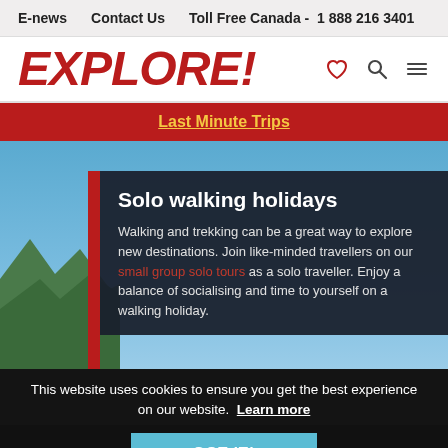E-news   Contact Us   Toll Free Canada -  1 888 216 3401
EXPLORE!
Last Minute Trips
[Figure (photo): Scenic photo of mountains and blue sky with a town or landscape visible]
Solo walking holidays
Walking and trekking can be a great way to explore new destinations. Join like-minded travellers on our small group solo tours as a solo traveller. Enjoy a balance of socialising and time to yourself on a walking holiday.
This website uses cookies to ensure you get the best experience on our website.  Learn more
GOT IT!